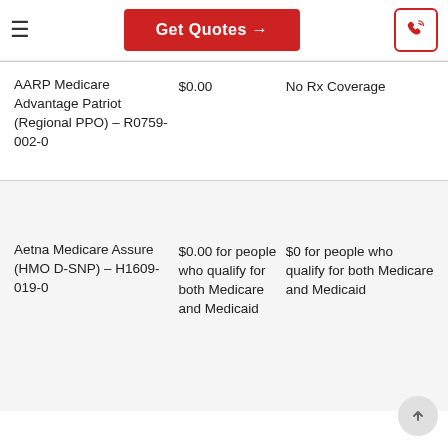Get Quotes →
| Plan | Premium | Rx Coverage |
| --- | --- | --- |
| AARP Medicare Advantage Patriot (Regional PPO) – R0759-002-0 | $0.00 | No Rx Coverage |
| Aetna Medicare Assure (HMO D-SNP) – H1609-019-0 | $0.00 for people who qualify for both Medicare and Medicaid | $0 for people who qualify for both Medicare and Medicaid |